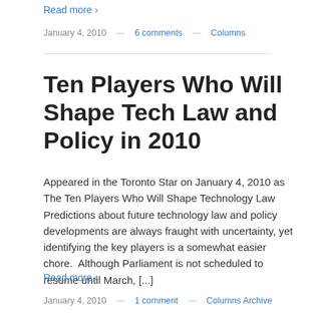Read more ›
January 4, 2010 — 6 comments — Columns
Ten Players Who Will Shape Tech Law and Policy in 2010
Appeared in the Toronto Star on January 4, 2010 as The Ten Players Who Will Shape Technology Law Predictions about future technology law and policy developments are always fraught with uncertainty, yet identifying the key players is a somewhat easier chore.  Although Parliament is not scheduled to resume until March, [...]
Read more ›
January 4, 2010 — 1 comment — Columns Archive